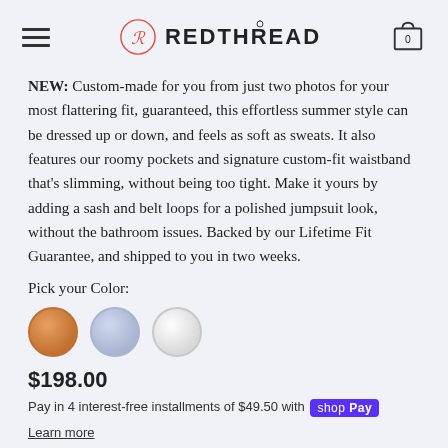REDTHREAD
NEW: Custom-made for you from just two photos for your most flattering fit, guaranteed, this effortless summer style can be dressed up or down, and feels as soft as sweats. It also features our roomy pockets and signature custom-fit waistband that's slimming, without being too tight. Make it yours by adding a sash and belt loops for a polished jumpsuit look, without the bathroom issues. Backed by our Lifetime Fit Guarantee, and shipped to you in two weeks.
Pick your Color:
[Figure (illustration): Three circular color swatches: orange/tan, light blue/periwinkle, and white/light gray]
$198.00
Pay in 4 interest-free installments of $49.50 with shopPay
Learn more